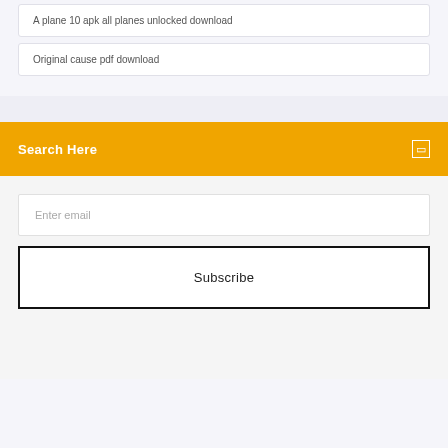A plane 10 apk all planes unlocked download
Original cause pdf download
Search Here
Enter email
Subscribe